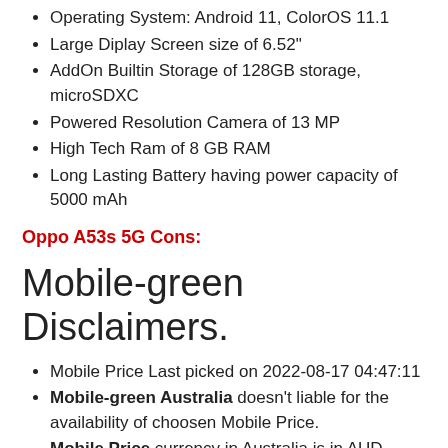Operating System: Android 11, ColorOS 11.1
Large Diplay Screen size of 6.52"
AddOn Builtin Storage of 128GB storage, microSDXC
Powered Resolution Camera of 13 MP
High Tech Ram of 8 GB RAM
Long Lasting Battery having power capacity of 5000 mAh
Oppo A53s 5G Cons:
Mobile-green Disclaimers.
Mobile Price Last picked on 2022-08-17 04:47:11
Mobile-green Australia doesn't liable for the availability of choosen Mobile Price.
Mobile Price currency in Australia is in AUD